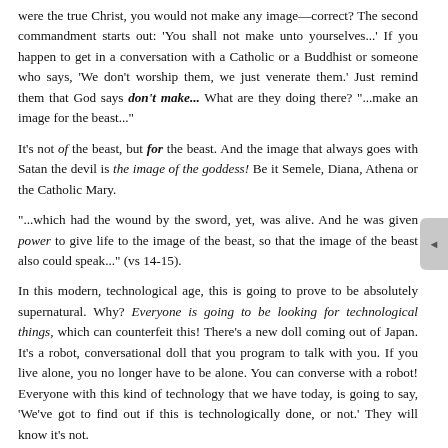were the true Christ, you would not make any image—correct? The second commandment starts out: 'You shall not make unto yourselves...' If you happen to get in a conversation with a Catholic or a Buddhist or someone who says, 'We don't worship them, we just venerate them.' Just remind them that God says 'don't make...' What are they doing there? "...make an image for the beast..."
It's not of the beast, but for the beast. And the image that always goes with Satan the devil is the image of the goddess! Be it Semele, Diana, Athena or the Catholic Mary.
"...which had the wound by the sword, yet, was alive. And he was given power to give life to the image of the beast, so that the image of the beast also could speak..." (vs 14-15).
In this modern, technological age, this is going to prove to be absolutely supernatural. Why? Everyone is going to be looking for technological things, which can counterfeit this! There's a new doll coming out of Japan. It's a robot, conversational doll that you program to talk with you. If you live alone, you no longer have to be alone. You can converse with a robot! Everyone with this kind of technology that we have today, is going to say, 'We've got to find out if this is technologically done, or not.' They will know it's not.
"...and he causes everyone who will not worship the image of the beast to be killed" (v 15). Sounds like Dan. 3... doesn't it? That's how